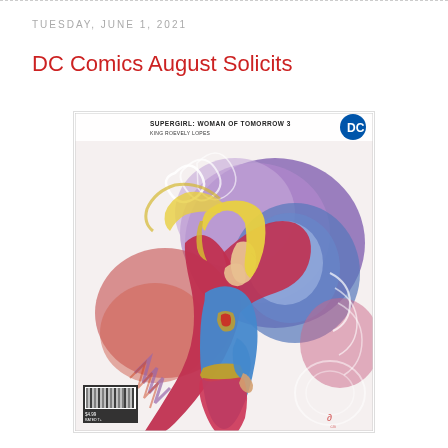TUESDAY, JUNE 1, 2021
DC Comics August Solicits
[Figure (illustration): Comic book cover: Supergirl: Woman of Tomorrow #3. Supergirl in blue costume with red cape and gold belt, blonde hair blowing, against a colorful abstract cosmic background of purples, blues, pinks and reds with swirling circular patterns. DC logo in upper right corner. Barcode in lower left. Artist signature in lower right.]